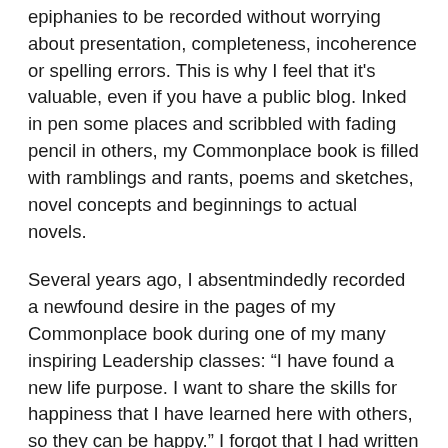epiphanies to be recorded without worrying about presentation, completeness, incoherence or spelling errors. This is why I feel that it's valuable, even if you have a public blog. Inked in pen some places and scribbled with fading pencil in others, my Commonplace book is filled with ramblings and rants, poems and sketches, novel concepts and beginnings to actual novels.
Several years ago, I absentmindedly recorded a newfound desire in the pages of my Commonplace book during one of my many inspiring Leadership classes: “I have found a new life purpose. I want to share the skills for happiness that I have learned here with others, so they can be happy.” I forgot that I had written it until, soon before my graduation from high school, I nostalgically flipped through that tattered notebook. I was shocked that I’d ever had such clarity concerning my life purpose! Yet it rang true in my soul, and has given me direction in life.